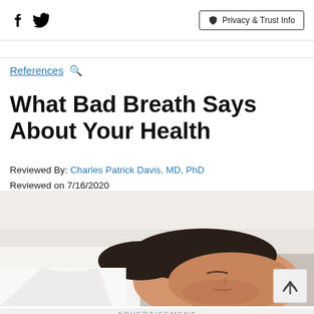Facebook icon, Twitter icon, Privacy & Trust Info
References 🔍
What Bad Breath Says About Your Health
Reviewed By: Charles Patrick Davis, MD, PhD
Reviewed on 7/16/2020
[Figure (photo): Person lying on a pillow/bed, viewed from the side, with dark hair, eyes closed, wearing a white shirt]
ADVERTISEMENT